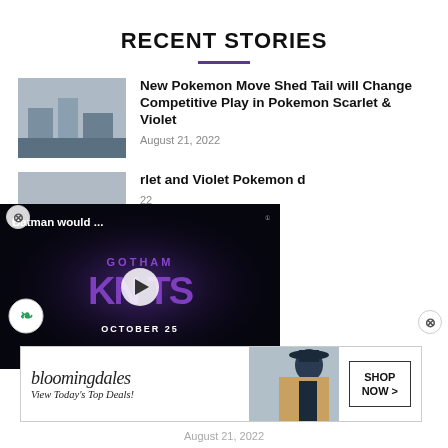RECENT STORIES
New Pokemon Move Shed Tail will Change Competitive Play in Pokemon Scarlet & Violet
August 21, 2022
[Figure (screenshot): Thumbnail image of Pokemon Scarlet & Violet gameplay]
[Figure (screenshot): Video overlay: Batman would ... Gotham Knights October 25 promotional video with play button]
rlet and Violet Pokemon d
22
[Figure (other): Bloomingdales advertisement banner: View Today's Top Deals! SHOP NOW >]
August 21, 2022